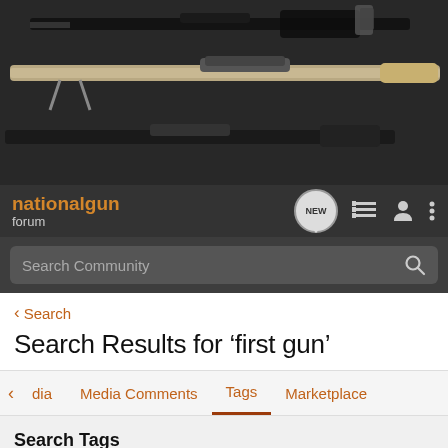[Figure (photo): Gun rack with rifles displayed on a pegboard wall, dark background. Shows multiple long rifles mounted horizontally.]
nationalgun forum
Search Community
< Search
Search Results for ‘first gun’
dia   Media Comments   Tags   Marketplace
Search Tags
X first gun   Search